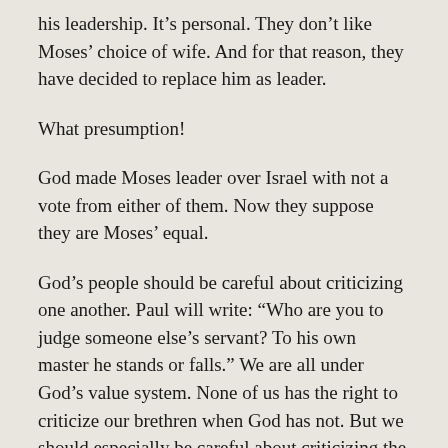his leadership.  It's personal.  They don't like Moses' choice of wife.  And for that reason, they have decided to replace him as leader.
What presumption!
God made Moses leader over Israel with not a vote from either of them.  Now they suppose they are Moses' equal.
God's people should be careful about criticizing one another.  Paul will write: “Who are you to judge someone else's servant?  To his own master he stands or falls.”  We are all under God's value system.  None of us has the right to criticize our brethren when God has not.   But we should especially be careful about criticizing the leaders of God's people.  If rebelling against governmental leaders is seen by God as rebellion against God's